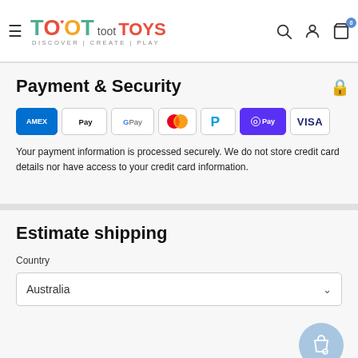[Figure (logo): Toot Toot Toys logo with colorful text and tagline DISCOVER | CREATE | PLAY]
Payment & Security
[Figure (infographic): Payment method icons: American Express, Apple Pay, Google Pay, Mastercard, PayPal, Shop Pay, Visa]
Your payment information is processed securely. We do not store credit card details nor have access to your credit card information.
Estimate shipping
Country
Australia